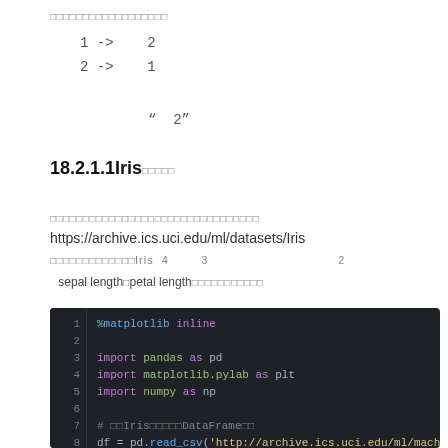□□□□□□□□□□□□□□□□□□
1 ->  2
2 ->  1
"  2"
18.2.1.1Iris□□□□□
□□□□□□□□□□□□□□□□□□□□□□□□□□□□□□□□
https://archive.ics.uci.edu/ml/datasets/Iris
□□□□□□□□□□□□□Iris  4        3                                2
sepal length□petal length□□□□□□□□□□□
[Figure (screenshot): Python code block on dark background showing matplotlib inline import, pandas, matplotlib.pylab, numpy imports, and Iris DataFrame loading code]